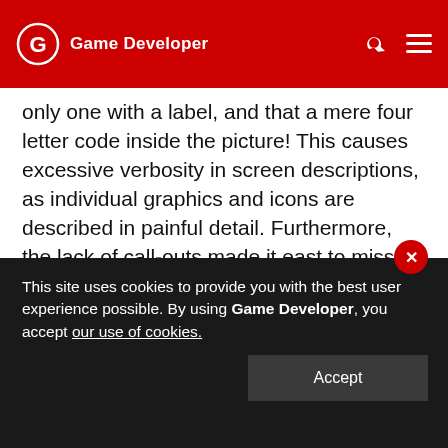Game Developer
only one with a label, and that a mere four letter code inside the picture! This causes excessive verbosity in screen descriptions, as individual graphics and icons are described in painful detail. Furthermore, the lack of call-outs made it east to miss useful information, such as the Oil, Sand and Water gauges on the Instrument Panel on the train detail Screen (to retain the unfortunate capitalizations used there). Worst of all, the call-outs that did appear are meaningless letter codes,
This site uses cookies to provide you with the best user experience possible. By using Game Developer, you accept our use of cookies.